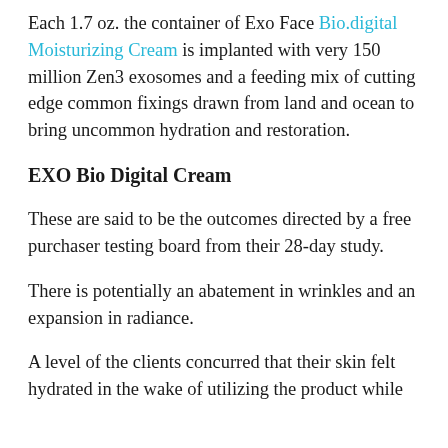Each 1.7 oz. the container of Exo Face Bio.digital Moisturizing Cream is implanted with very 150 million Zen3 exosomes and a feeding mix of cutting edge common fixings drawn from land and ocean to bring uncommon hydration and restoration.
EXO Bio Digital Cream
These are said to be the outcomes directed by a free purchaser testing board from their 28-day study.
There is potentially an abatement in wrinkles and an expansion in radiance.
A level of the clients concurred that their skin felt hydrated in the wake of utilizing the product while